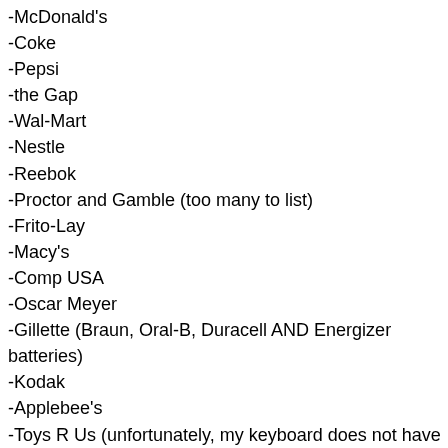-McDonald's
-Coke
-Pepsi
-the Gap
-Wal-Mart
-Nestle
-Reebok
-Proctor and Gamble (too many to list)
-Frito-Lay
-Macy's
-Comp USA
-Oscar Meyer
-Gillette (Braun, Oral-B, Duracell AND Energizer batteries)
-Kodak
-Applebee's
-Toys R Us (unfortunately, my keyboard does not have a backwards 'R')
-Old Navy
-General Electric
-Nike
-FYE
-Domino's